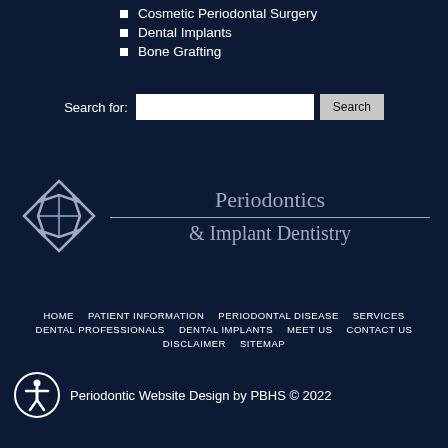Cosmetic Periodontal Surgery
Dental Implants
Bone Grafting
Search for:
[Figure (logo): Diamond-shaped geometric logo with Periodontics & Implant Dentistry text]
HOME  PATIENT INFORMATION  PERIODONTAL DISEASE  SERVICES  DENTAL PROFESSIONALS  DENTAL IMPLANTS  MEET US  CONTACT US  DISCLAIMER  SITEMAP
Periodontic Website Design by PBHS © 2022